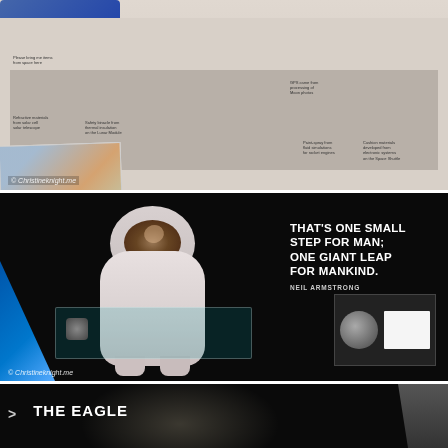[Figure (photo): Museum exhibit showing various space technology artifacts and products derived from space research, displayed on a table with labels. Items include postcards, a blue sleeping bag, a lunar module photograph, a green packet, a black circular object, and information panels. Photo watermarked © Christineknight.me]
[Figure (photo): Dark exhibition room showing a life-size astronaut spacesuit cutout with a reflective visor, a glass display case with space artifacts, a blue triangular architectural element on the left, a moon image panel on the lower right, and the Neil Armstrong quote 'That's one small step for man; one giant leap for mankind.' in white text on the dark wall. Photo watermarked © Christineknight.me]
[Figure (photo): Partial view of a dark museum exhibit with text '> THE EAGLE' in white, with a spotlight effect visible at the top.]